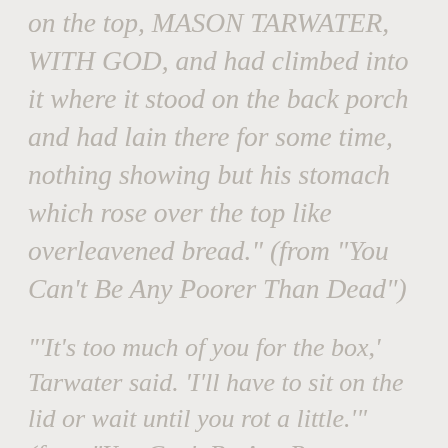on the top, MASON TARWATER, WITH GOD, and had climbed into it where it stood on the back porch and had lain there for some time, nothing showing but his stomach which rose over the top like overleavened bread." (from "You Can't Be Any Poorer Than Dead")
"'It's too much of you for the box,' Tarwater said. 'I'll have to sit on the lid or wait until you rot a little.'" (from "You Can't Be Any Poorer Than Dead")
"'They were hox-jawed old ladies who